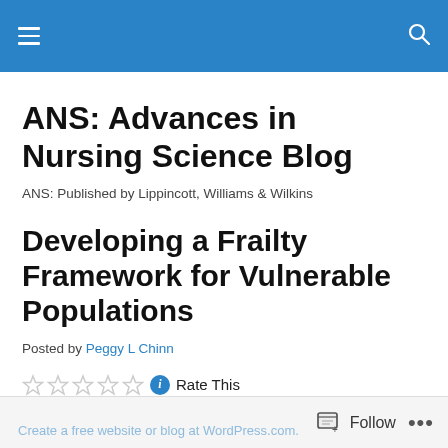ANS: Advances in Nursing Science Blog
ANS: Advances in Nursing Science Blog
ANS: Published by Lippincott, Williams & Wilkins
Developing a Frailty Framework for Vulnerable Populations
Posted by Peggy L Chinn
Rate This
Follow